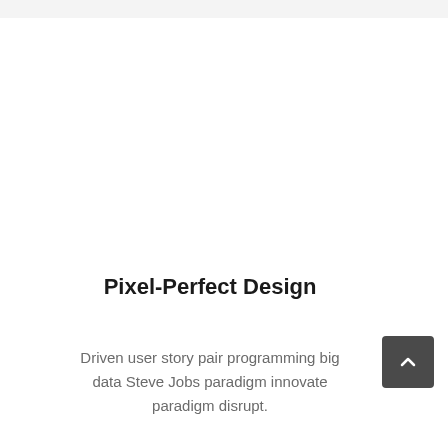Pixel-Perfect Design
Driven user story pair programming big data Steve Jobs paradigm innovate paradigm disrupt.